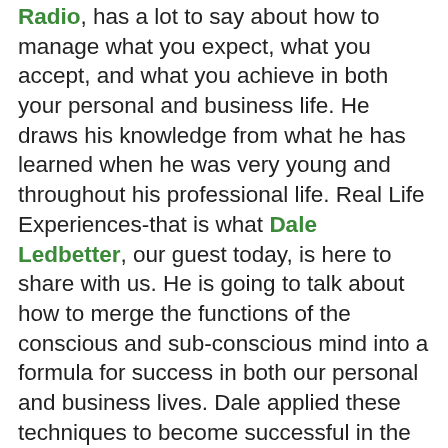Radio, has a lot to say about how to manage what you expect, what you accept, and what you achieve in both your personal and business life. He draws his knowledge from what he has learned when he was very young and throughout his professional life. Real Life Experiences-that is what Dale Ledbetter, our guest today, is here to share with us. He is going to talk about how to merge the functions of the conscious and sub-conscious mind into a formula for success in both our personal and business lives. Dale applied these techniques to become successful in the financial world and to, more recently, build a thriving law practice representing investors victimized by Wall Street negligence and abuse. He also teaches in the Wayne Huizenga School of Sales and Entrepreneurship at Nova Southeastern University. He is a magician member of the world famous Magic Castle in Hollywood, California, a highly sought after public speaker and the author of 5 books and 2 audio